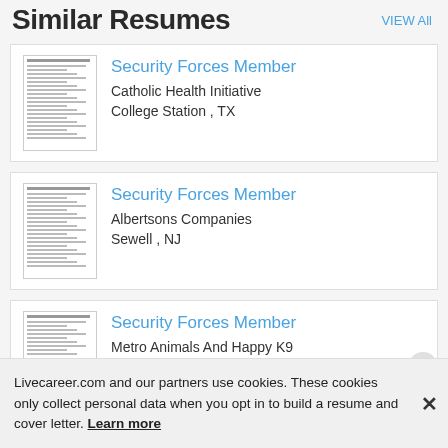Similar Resumes
VIEW All
[Figure (screenshot): Resume thumbnail for Security Forces Member]
Security Forces Member
Catholic Health Initiative
College Station , TX
[Figure (screenshot): Resume thumbnail for Security Forces Member]
Security Forces Member
Albertsons Companies
Sewell , NJ
[Figure (screenshot): Resume thumbnail for Security Forces Member]
Security Forces Member
Metro Animals And Happy K9
Livecareer.com and our partners use cookies. These cookies only collect personal data when you opt in to build a resume and cover letter. Learn more